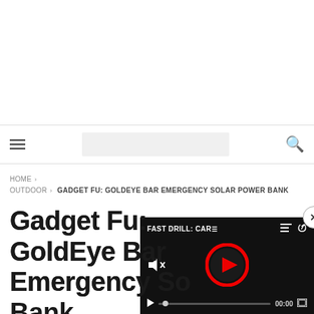HOME › OUTDOOR › GADGET FU: GOLDEYE BAR EMERGENCY SOLAR POWER BANK
Gadget Fu: GoldEye Bar Emergency Solar Power Bank
[Figure (screenshot): Video overlay showing 'FAST DRILL: CAR...' with a red play button circle, mute icon, progress bar showing 00:00, and fullscreen icon on dark background. Close (x) button in top-right corner.]